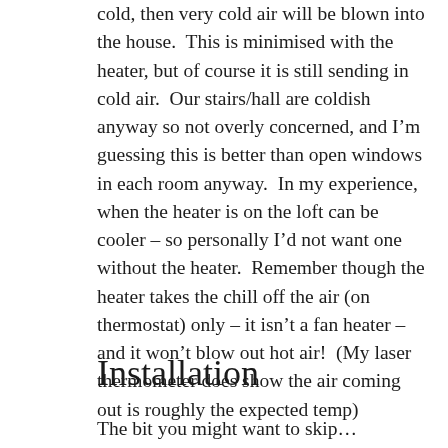cold, then very cold air will be blown into the house.  This is minimised with the heater, but of course it is still sending in cold air.  Our stairs/hall are coldish anyway so not overly concerned, and I'm guessing this is better than open windows in each room anyway.  In my experience, when the heater is on the loft can be cooler – so personally I'd not want one without the heater.  Remember though the heater takes the chill off the air (on thermostat) only – it isn't a fan heater – and it won't blow out hot air!  (My laser thermometer does show the air coming out is roughly the expected temp)
Installation
The bit you might want to skip...